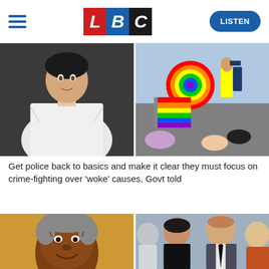[Figure (logo): LBC radio logo with red L, blue B, black C tiles]
[Figure (photo): Woman in white jacket smiling, dark background]
[Figure (photo): Aerial view of Pride event with rainbow flags, police officers]
Get police back to basics and make it clear they must focus on crime-fighting over 'woke' causes, Govt told
[Figure (photo): Nelson Mandela smiling, close-up portrait]
[Figure (photo): Meghan Markle and Prince Harry at a public event, other attendees visible]